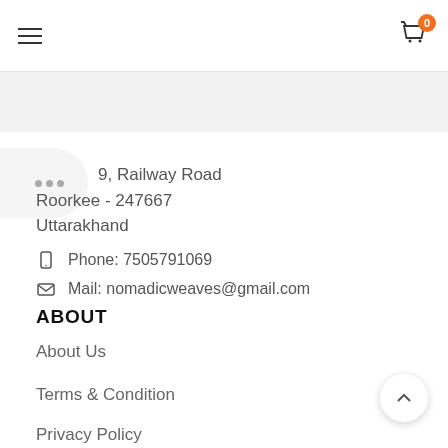Navigation bar with hamburger menu and cart icon (0 items)
99, Railway Road
Roorkee - 247667
Uttarakhand
Phone: 7505791069
Mail: nomadicweaves@gmail.com
ABOUT
About Us
Terms & Condition
Privacy Policy